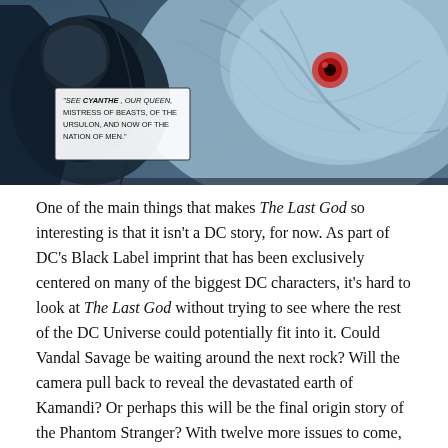[Figure (illustration): Comic book panel showing a large grey creature (beast/monster) with reddish eye on the right and a caped figure on the left. A speech/caption box in the panel reads: 'See Cyanthe, our queen, mistress of beasts, of the Ursulon, and now of the nation of men.']
One of the main things that makes The Last God so interesting is that it isn't a DC story, for now. As part of DC's Black Label imprint that has been exclusively centered on many of the biggest DC characters, it's hard to look at The Last God without trying to see where the rest of the DC Universe could potentially fit into it. Could Vandal Savage be waiting around the next rock? Will the camera pull back to reveal the devastated earth of Kamandi? Or perhaps this will be the final origin story of the Phantom Stranger? With twelve more issues to come, it's impossible to tell where the rest of the story could go, but based on this first issue, it's going to be interesting